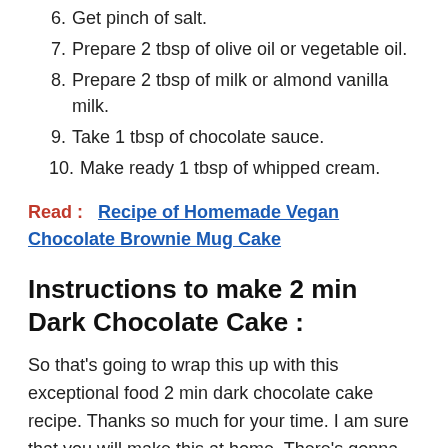6. Get pinch of salt.
7. Prepare 2 tbsp of olive oil or vegetable oil.
8. Prepare 2 tbsp of milk or almond vanilla milk.
9. Take 1 tbsp of chocolate sauce.
10. Make ready 1 tbsp of whipped cream.
Read :   Recipe of Homemade Vegan Chocolate Brownie Mug Cake
Instructions to make 2 min Dark Chocolate Cake :
So that's going to wrap this up with this exceptional food 2 min dark chocolate cake recipe. Thanks so much for your time. I am sure that you will make this at home. There's gonna be interesting food at home recipes coming up. Remember to bookmark this page in your browser, and share it to your family, colleague and friends.